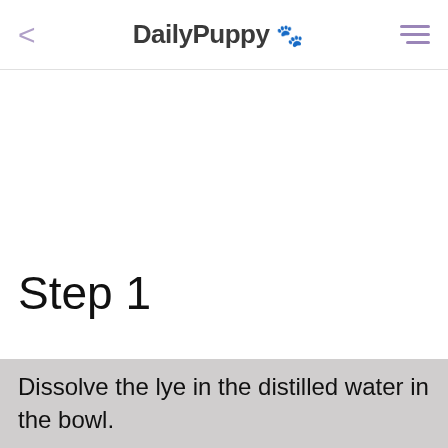DailyPuppy 🐾
Step 1
Dissolve the lye in the distilled water in the bowl.